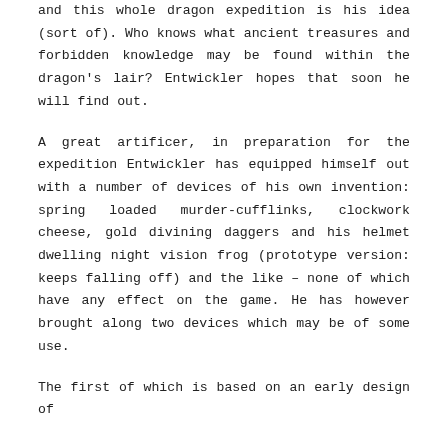and this whole dragon expedition is his idea (sort of). Who knows what ancient treasures and forbidden knowledge may be found within the dragon's lair? Entwickler hopes that soon he will find out.
A great artificer, in preparation for the expedition Entwickler has equipped himself out with a number of devices of his own invention: spring loaded murder-cufflinks, clockwork cheese, gold divining daggers and his helmet dwelling night vision frog (prototype version: keeps falling off) and the like – none of which have any effect on the game. He has however brought along two devices which may be of some use.
The first of which is based on an early design of